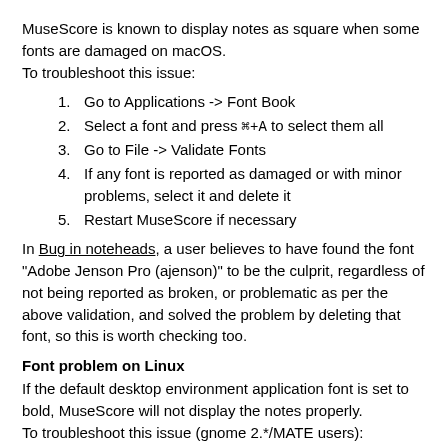MuseScore is known to display notes as square when some fonts are damaged on macOS.
To troubleshoot this issue:
1. Go to Applications -> Font Book
2. Select a font and press ⌘+A to select them all
3. Go to File -> Validate Fonts
4. If any font is reported as damaged or with minor problems, select it and delete it
5. Restart MuseScore if necessary
In Bug in noteheads, a user believes to have found the font "Adobe Jenson Pro (ajenson)" to be the culprit, regardless of not being reported as broken, or problematic as per the above validation, and solved the problem by deleting that font, so this is worth checking too.
Font problem on Linux
If the default desktop environment application font is set to bold, MuseScore will not display the notes properly.
To troubleshoot this issue (gnome 2.*/MATE users):
1. Right-click on your desktop and select Change Desktop background